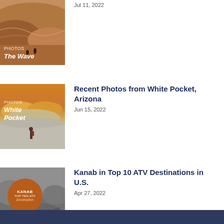[Figure (photo): Partial thumbnail of The Wave rock formation with italic title overlay]
[Figure (photo): Thumbnail of White Pocket Arizona with hiker and desert rock formations at golden hour]
Recent Photos from White Pocket, Arizona
Jun 15, 2022
[Figure (photo): Grayscale thumbnail with orange Kanab Top Ten ATV Destination badge/circle overlay]
Kanab in Top 10 ATV Destinations in U.S.
Apr 27, 2022